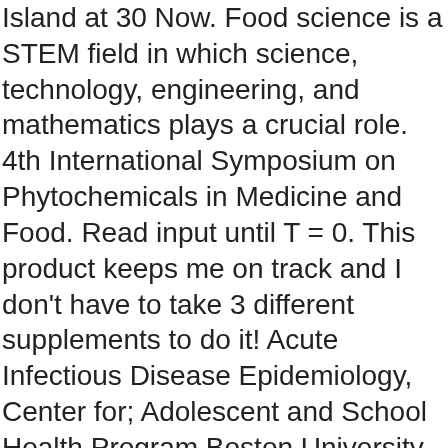Island at 30 Now. Food science is a STEM field in which science, technology, engineering, and mathematics plays a crucial role. 4th International Symposium on Phytochemicals in Medicine and Food. Read input until T = 0. This product keeps me on track and I don't have to take 3 different supplements to do it! Acute Infectious Disease Epidemiology, Center for; Adolescent and School Health Program Boston University (BU) is a private research university in Boston, Massachusetts.The university is nonsectarian but maintains its historical affiliation with the United Methodist Church. A free and public alternative to Watch Hill Beach, East Beach is a huge tract of sand with plenty of space for sunbathing, swimming, and other beach-based activities. Rhode Island Community Food Bank is a Food Banks, Food Pantries, and Food Distribution charity located in Providence, RI. Eastland Food Corporation. Product Information. Rhode Island Community Food Bank is rated